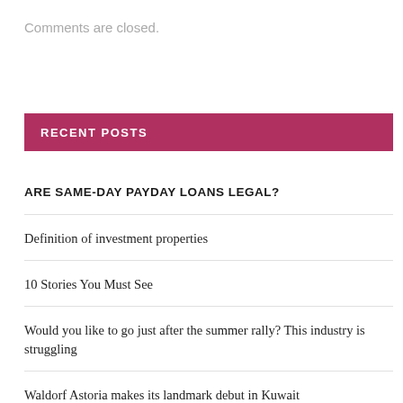Comments are closed.
RECENT POSTS
ARE SAME-DAY PAYDAY LOANS LEGAL?
Definition of investment properties
10 Stories You Must See
Would you like to go just after the summer rally? This industry is struggling
Waldorf Astoria makes its landmark debut in Kuwait
Yummy Thursday: 4 delicious recipes for dishes you can make with